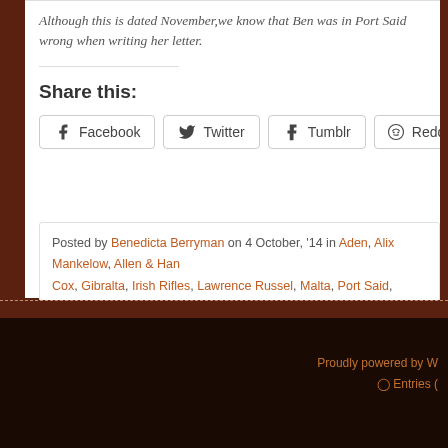Although this is dated November,we know that Ben was in Port Said wrong when writing her letter.
Share this:
Facebook | Twitter | Tumblr | Reddit | Email
Posted by Benedicta Berryman on 4 October, '14 in Aden, Alix Mankelow, Allen & Han Cox, Gibralta, Irish Rifles, Lawrence Russel, Malta, Port Said, Suez, Ted Berryman, T
Proudly powered by W Entries (